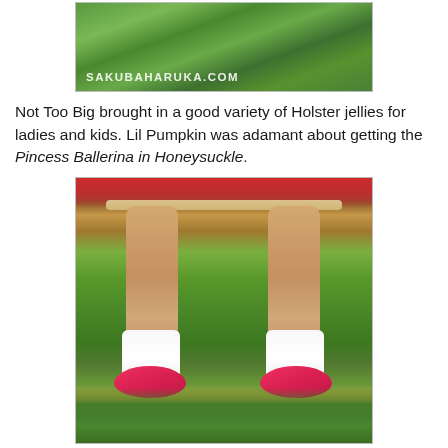[Figure (photo): Photo of grass/outdoor scene with watermark text 'SAKUBAHARUKA.COM' in white lettering at bottom left]
Not Too Big brought in a good variety of Holster jellies for ladies and kids. Lil Pumpkin was adamant about getting the Pincess Ballerina in Honeysuckle.
[Figure (photo): Close-up photo of a young child's legs wearing white frilly socks and pink/red Holster jelly ballerina shoes, standing on grass. The child is wearing a red dress visible at the top of the frame.]